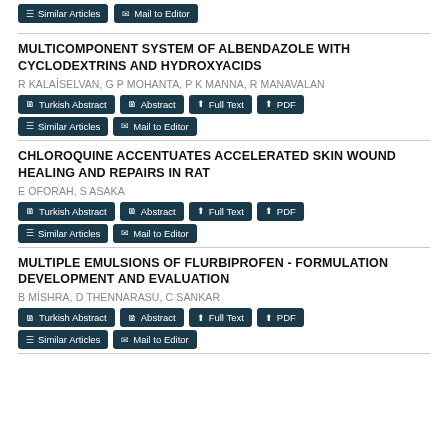Similar Articles | Mail to Editor (buttons at top)
MULTICOMPONENT SYSTEM OF ALBENDAZOLE WITH CYCLODEXTRINS AND HYDROXYACIDS
R KALAİSELVAN, G P MOHANTA, P K MANNA, R MANAVALAN
Turkish Abstract | Abstract | Full Text | PDF | Similar Articles | Mail to Editor
CHLOROQUINE ACCENTUATES ACCELERATED SKIN WOUND HEALING AND REPAIRS IN RAT
E OFORAH, S ASAKA
Turkish Abstract | Abstract | Full Text | PDF | Similar Articles | Mail to Editor
MULTIPLE EMULSIONS OF FLURBIPROFEN - FORMULATION DEVELOPMENT AND EVALUATION
B MİSHRA, D THENNARASU, C SANKAR
Turkish Abstract | Abstract | Full Text | PDF | Similar Articles | Mail to Editor